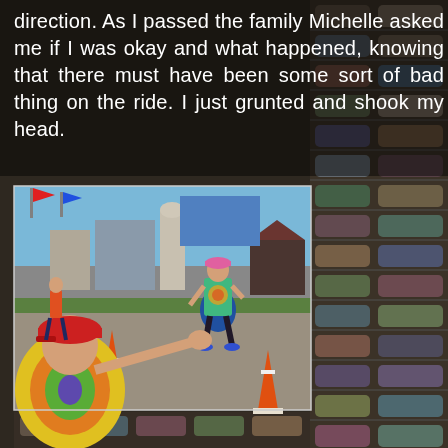direction. As I passed the family Michelle asked me if I was okay and what happened, knowing that there must have been some sort of bad thing on the ride. I just grunted and shook my head.
[Figure (photo): A triathlon runner in a colorful tie-dye singlet and pink cap running along a road course, being greeted by a child in a rainbow tie-dye shirt who is reaching out a hand for a high-five. Traffic cones line the course, and industrial buildings and silos are visible in the background under a blue sky.]